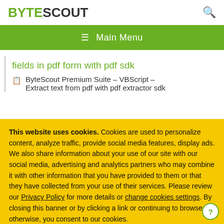BYTESCOUT
≡ Main Menu
fields in pdf form with pdf sdk
ByteScout Premium Suite – VBScript – Extract text from pdf with pdf extractor sdk
This website uses cookies. Cookies are used to personalize content, analyze traffic, provide social media features, display ads. We also share information about your use of our site with our social media, advertising and analytics partners who may combine it with other information that you have provided to them or that they have collected from your use of their services. Please review our Privacy Policy for more details or change cookies settings. By closing this banner or by clicking a link or continuing to browse otherwise, you consent to our cookies.
OK